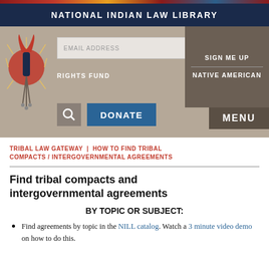NATIONAL INDIAN LAW LIBRARY
[Figure (screenshot): National Indian Law Library website header with logo, email signup field, Sign Me Up / Native American Rights Fund links, Donate button, and Menu button]
TRIBAL LAW GATEWAY | HOW TO FIND TRIBAL COMPACTS / INTERGOVERNMENTAL AGREEMENTS
Find tribal compacts and intergovernmental agreements
BY TOPIC OR SUBJECT:
Find agreements by topic in the NILL catalog. Watch a 3 minute video demo on how to do this.